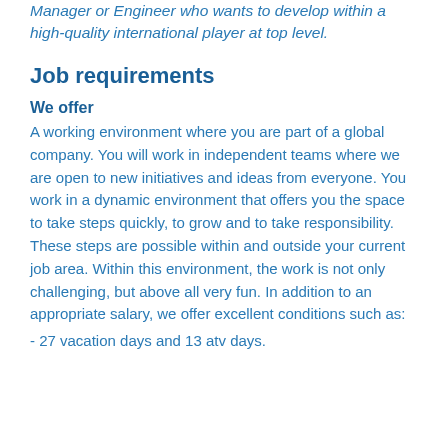Manager or Engineer who wants to develop within a high-quality international player at top level.
Job requirements
We offer
A working environment where you are part of a global company. You will work in independent teams where we are open to new initiatives and ideas from everyone. You work in a dynamic environment that offers you the space to take steps quickly, to grow and to take responsibility. These steps are possible within and outside your current job area. Within this environment, the work is not only challenging, but above all very fun. In addition to an appropriate salary, we offer excellent conditions such as:
- 27 vacation days and 13 atv days.